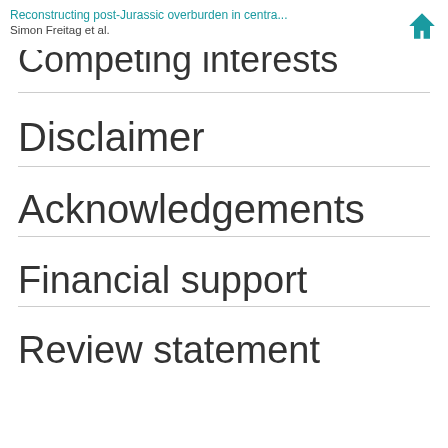Reconstructing post-Jurassic overburden in centra... Simon Freitag et al.
Competing interests
Disclaimer
Acknowledgements
Financial support
Review statement